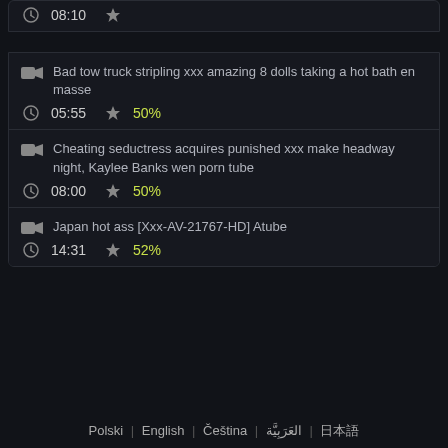08:10
Bad tow truck stripling xxx amazing 8 dolls taking a hot bath en masse | 05:55 | 50%
Cheating seductress acquires punished xxx make headway night, Kaylee Banks wen porn tube | 08:00 | 50%
Japan hot ass [Xxx-AV-21767-HD] Atube | 14:31 | 52%
Polski | English | Čeština | العَرَبِيَّة | 日本語